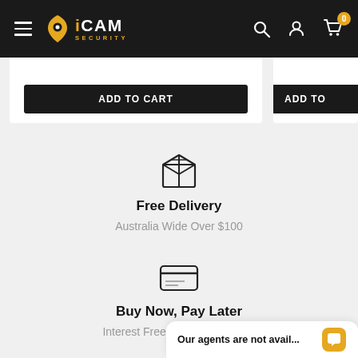iCAM SECURITY – navigation bar with hamburger menu, logo, search, account, and cart (0 items)
[Figure (screenshot): Partial 'Add to Cart' buttons for two product cards, partially cropped at top]
[Figure (illustration): Package/box icon representing free delivery]
Free Delivery
Australia Wide Over $100
[Figure (illustration): Credit card icon representing Buy Now, Pay Later]
Buy Now, Pay Later
Interest Free Options Available
Our agents are not avail...